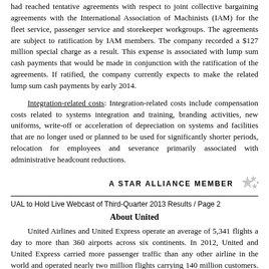had reached tentative agreements with respect to joint collective bargaining agreements with the International Association of Machinists (IAM) for the fleet service, passenger service and storekeeper workgroups. The agreements are subject to ratification by IAM members. The company recorded a $127 million special charge as a result. This expense is associated with lump sum cash payments that would be made in conjunction with the ratification of the agreements. If ratified, the company currently expects to make the related lump sum cash payments by early 2014.
Integration-related costs: Integration-related costs include compensation costs related to systems integration and training, branding activities, new uniforms, write-off or acceleration of depreciation on systems and facilities that are no longer used or planned to be used for significantly shorter periods, relocation for employees and severance primarily associated with administrative headcount reductions.
[Figure (logo): A STAR ALLIANCE MEMBER logo with star graphic]
UAL to Hold Live Webcast of Third-Quarter 2013 Results / Page 2
About United
United Airlines and United Express operate an average of 5,341 flights a day to more than 360 airports across six continents. In 2012, United and United Express carried more passenger traffic than any other airline in the world and operated nearly two million flights carrying 140 million customers. United is investing in upgrading its onboard products and now offers more flat-bed seats